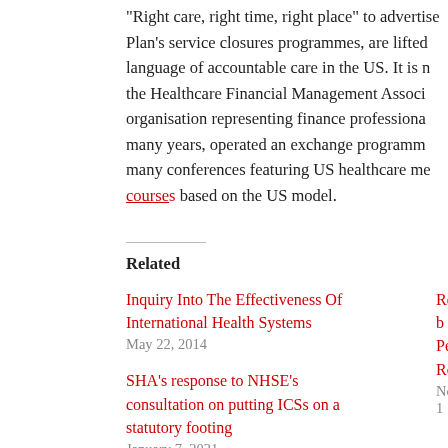“Right care, right time, right place” to advertise Plan’s service closures programmes, are lifted language of accountable care in the US. It is n the Healthcare Financial Management Associ organisation representing finance professiona many years, operated an exchange programm many conferences featuring US healthcare me courses based on the US model.
Related
Inquiry Into The Effectiveness Of International Health Systems
May 22, 2014
Response b Peter Rode
November 1
SHA’s response to NHSE’s consultation on putting ICSs on a statutory footing
January 7, 2021